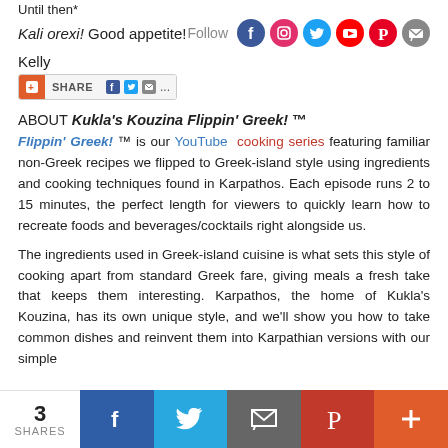Until then*
Kali orexi! Good appetite!   Follow
Kelly
[Figure (infographic): Share bar with orange plus icon, SHARE label, Facebook, Twitter, email, and ellipsis icons]
ABOUT Kukla's Kouzina Flippin' Greek! ™
Flippin' Greek! ™ is our YouTube cooking series featuring familiar non-Greek recipes we flipped to Greek-island style using ingredients and cooking techniques found in Karpathos. Each episode runs 2 to 15 minutes, the perfect length for viewers to quickly learn how to recreate foods and beverages/cocktails right alongside us.
The ingredients used in Greek-island cuisine is what sets this style of cooking apart from standard Greek fare, giving meals a fresh take that keeps them interesting. Karpathos, the home of Kukla's Kouzina, has its own unique style, and we'll show you how to take common dishes and reinvent them into Karpathian versions with our simple
[Figure (infographic): Bottom social share bar with share count of 3, Facebook, Twitter, email, Pinterest, and more (+) buttons]